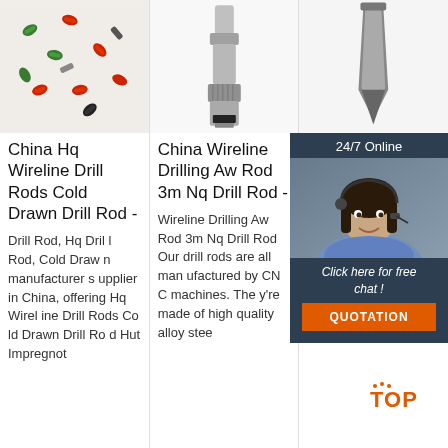[Figure (photo): Colorful plastic drill rod end caps (green, red, black) scattered on white surface]
[Figure (photo): Close-up of a wireline drill rod connector end, metallic silver finish on white background]
[Figure (photo): A narrow chisel or drill bit tool, dark metallic, on white background]
China Hq Wireline Drill Rods Cold Drawn Drill Rod -
China Wireline Drilling Aw Rod 3m Nq Drill Rod -
XQ Wireline Co Bo Lo
Drill Rod, Hq Drill Rod, Cold Drawn manufacturer supplier in China, offering Hq Wireline Drill Rods Cold Drawn Drill Rod Hut Impregnot
Wireline Drilling Aw Rod 3m Nq Drill Rod Our drill rods are all manufactured by CNC machines. The y're made of high quality alloy stee
2020 China W na W Tools Supplier, Diamond Core Bits, Drill Rods Manufacturers Suppli ers - Wuxi Geolo gical Drilling Equ
[Figure (other): 24/7 online chat widget with customer service representative photo, 'Click here for free chat!' text, and QUOTATION button in orange]